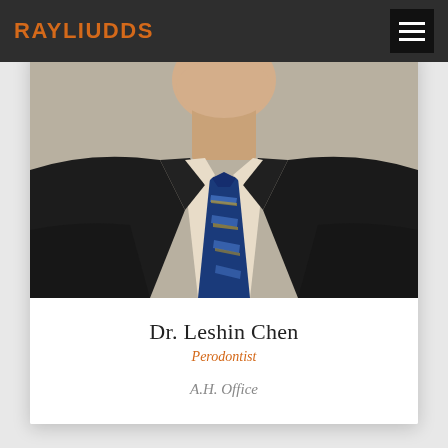RAYLIUDDS
[Figure (photo): Professional headshot of Dr. Leshin Chen in a dark suit and blue striped tie, cropped at neck level showing chest and tie]
Dr. Leshin Chen
Perodontist
A.H. Office